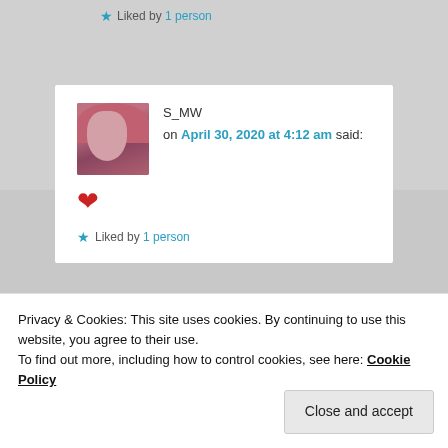★ Liked by 1 person
S_MW on April 30, 2020 at 4:12 am said:
❤
★ Liked by 1 person
Privacy & Cookies: This site uses cookies. By continuing to use this website, you agree to their use.
To find out more, including how to control cookies, see here: Cookie Policy
Close and accept